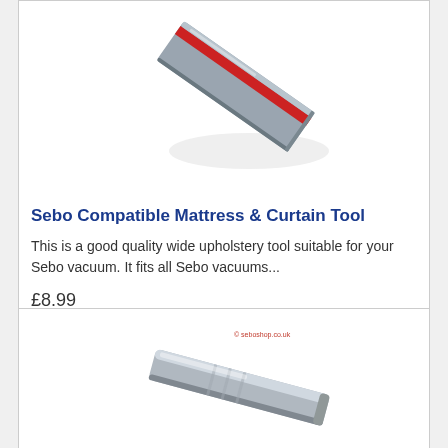[Figure (photo): Close-up photo of a grey mattress and curtain vacuum tool attachment with a red stripe, viewed from above at an angle.]
Sebo Compatible Mattress & Curtain Tool
This is a good quality wide upholstery tool suitable for your Sebo vacuum. It fits all Sebo vacuums...
£8.99
👁 More Information
[Figure (photo): Partial photo of a metallic silver vacuum tool attachment, with a small copyright watermark reading '© seboshop.co.uk'.]